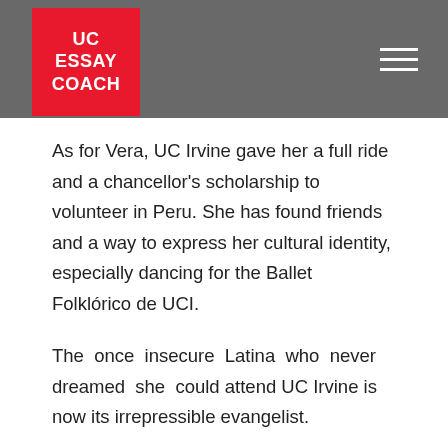UC ESSAY COACH
As for Vera, UC Irvine gave her a full ride and a chancellor’s scholarship to volunteer in Peru. She has found friends and a way to express her cultural identity, especially dancing for the Ballet Folklórico de UCI.
The once insecure Latina who never dreamed she could attend UC Irvine is now its irrepressible evangelist.
Like 0   Tweet
2 Comments
It's cheaper to live on campus at UCLA than UC Merced